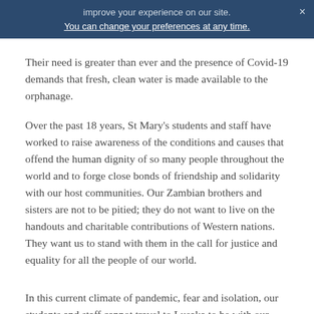improve your experience on our site. You can change your preferences at any time.
Their need is greater than ever and the presence of Covid-19 demands that fresh, clean water is made available to the orphanage.
Over the past 18 years, St Mary’s students and staff have worked to raise awareness of the conditions and causes that offend the human dignity of so many people throughout the world and to forge close bonds of friendship and solidarity with our host communities. Our Zambian brothers and sisters are not to be pitied; they do not want to live on the handouts and charitable contributions of Western nations. They want us to stand with them in the call for justice and equality for all the people of our world.
In this current climate of pandemic, fear and isolation, our students and staff cannot travel to Lusaka to be with our